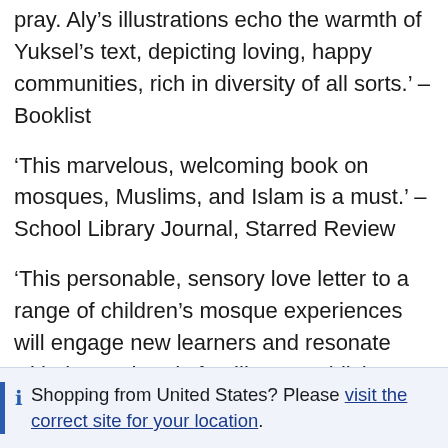pray. Aly's illustrations echo the warmth of Yuksel's text, depicting loving, happy communities, rich in diversity of all sorts.' – Booklist
'This marvelous, welcoming book on mosques, Muslims, and Islam is a must.' – School Library Journal, Starred Review
'This personable, sensory love letter to a range of children's mosque experiences will engage new learners and resonate with those already familiar.' – Publishers Weekly, Starred Review
'Aly's bright illustrations pair well with Yuksel's words,
Shopping from United States? Please visit the correct site for your location.